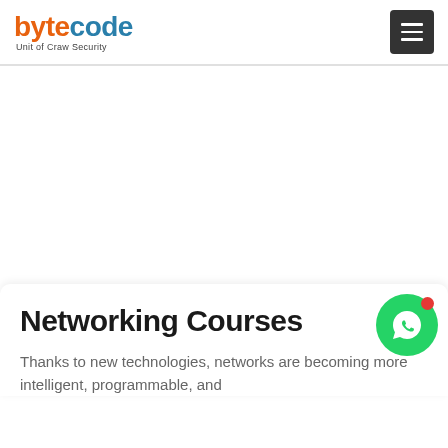bytecode - Unit of Craw Security
Networking Courses
Thanks to new technologies, networks are becoming more intelligent, programmable, and